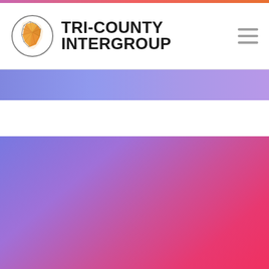[Figure (logo): Tri-County Intergroup website screenshot showing header with logo (California bear map icon in orange/gold tones with geometric facets inside a circle) and brand name TRI-COUNTY INTERGROUP in bold black, hamburger menu icon on right, a blue/purple banner strip, white space, and a large gradient background section transitioning from purple-blue on the left to pink-red on the right]
TRI-COUNTY INTERGROUP